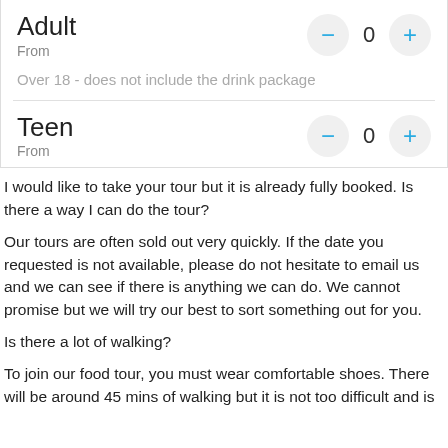Adult
From
Over 18 - does not include the drink package
Teen
From
I would like to take your tour but it is already fully booked. Is there a way I can do the tour?
Our tours are often sold out very quickly. If the date you requested is not available, please do not hesitate to email us and we can see if there is anything we can do. We cannot promise but we will try our best to sort something out for you.
Is there a lot of walking?
To join our food tour, you must wear comfortable shoes. There will be around 45 mins of walking but it is not too difficult and is